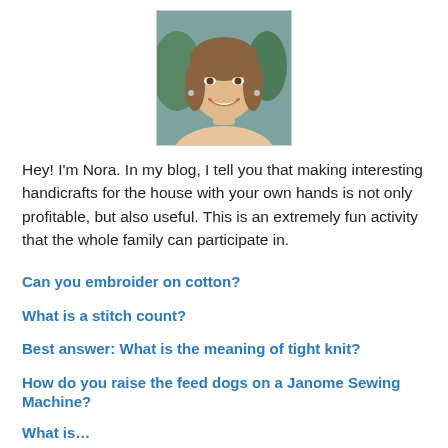[Figure (photo): Headshot photo of a young woman with long brown hair, smiling, outdoors]
Hey! I'm Nora. In my blog, I tell you that making interesting handicrafts for the house with your own hands is not only profitable, but also useful. This is an extremely fun activity that the whole family can participate in.
Can you embroider on cotton?
What is a stitch count?
Best answer: What is the meaning of tight knit?
How do you raise the feed dogs on a Janome Sewing Machine?
What is…